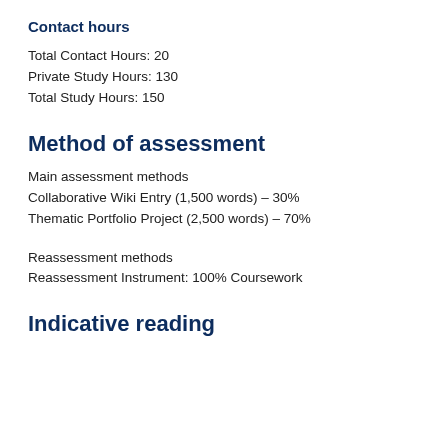Contact hours
Total Contact Hours: 20
Private Study Hours: 130
Total Study Hours: 150
Method of assessment
Main assessment methods
Collaborative Wiki Entry (1,500 words) – 30%
Thematic Portfolio Project (2,500 words) – 70%
Reassessment methods
Reassessment Instrument: 100% Coursework
Indicative reading